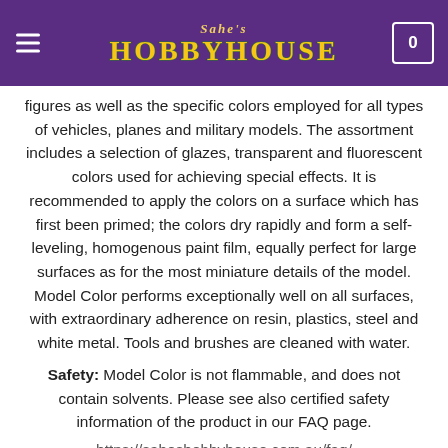[Figure (logo): Sabe's Hobby House logo with purple header background, hamburger menu icon on left, cart icon on right, and stylized yellow/gold logo text in center]
figures as well as the specific colors employed for all types of vehicles, planes and military models. The assortment includes a selection of glazes, transparent and fluorescent colors used for achieving special effects. It is recommended to apply the colors on a surface which has first been primed; the colors dry rapidly and form a self-leveling, homogenous paint film, equally perfect for large surfaces as for the most miniature details of the model. Model Color performs exceptionally well on all surfaces, with extraordinary adherence on resin, plastics, steel and white metal. Tools and brushes are cleaned with water.
Safety: Model Color is not flammable, and does not contain solvents. Please see also certified safety information of the product in our FAQ page.
https://sabeshobbyhouse.com.au/faq/